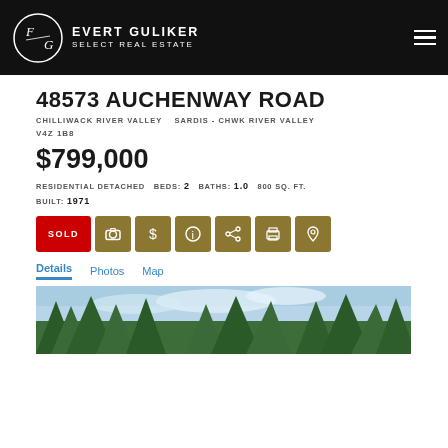EVERT GULIKER SELECT REAL ESTATE
48573 AUCHENWAY ROAD
CHILLIWACK RIVER VALLEY   SARDIS - CHWK RIVER VALLEY
V4Z 1B8
$799,000
RESIDENTIAL DETACHED   BEDS: 2   BATHS: 1.0   800 SQ. FT.   BUILT: 1971
SOLD
Details   Photos   Map
[Figure (photo): Exterior property photo showing trees and sky]